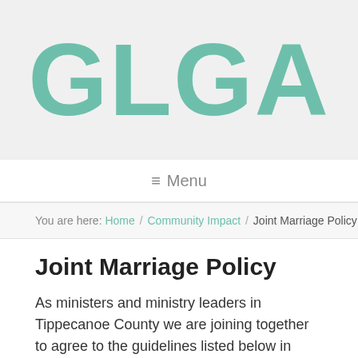[Figure (logo): GLGA logo in teal/mint green large bold letters on light gray background]
≡ Menu
You are here: Home / Community Impact / Joint Marriage Policy
Joint Marriage Policy
As ministers and ministry leaders in Tippecanoe County we are joining together to agree to the guidelines listed below in preparing people for marriage, as well as ministry with married couples. We do so as a witness of our commitment to help build strong marriages,